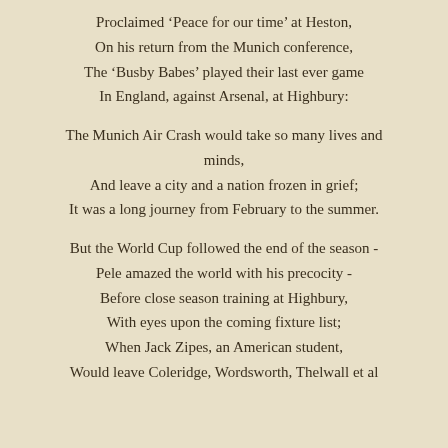Proclaimed ‘Peace for our time’ at Heston,
On his return from the Munich conference,
The ‘Busby Babes’ played their last ever game
In England, against Arsenal, at Highbury:

The Munich Air Crash would take so many lives and minds,
And leave a city and a nation frozen in grief;
It was a long journey from February to the summer.

But the World Cup followed the end of the season -
Pele amazed the world with his precocity -
Before close season training at Highbury,
With eyes upon the coming fixture list;
When Jack Zipes, an American student,
Would leave Coleridge, Wordsworth, Thelwall et al